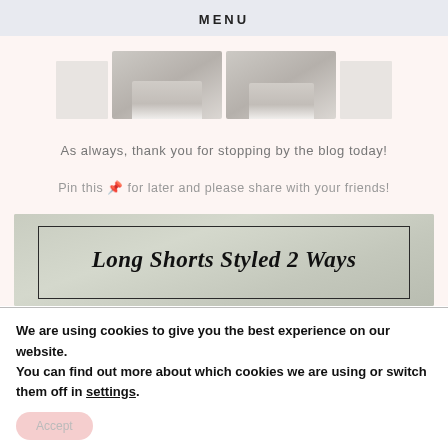MENU
[Figure (photo): Two thumbnail photos of white sneakers/shoes cropped at the feet, shown side by side with smaller placeholder boxes on the outer edges]
As always, thank you for stopping by the blog today!
Pin this 📌 for later and please share with your friends!
[Figure (photo): Pinterest-style blog image with blurred outdoor background and text overlay reading 'Long Shorts Styled 2 Ways' in script font inside a rectangular border]
We are using cookies to give you the best experience on our website.
You can find out more about which cookies we are using or switch them off in settings.